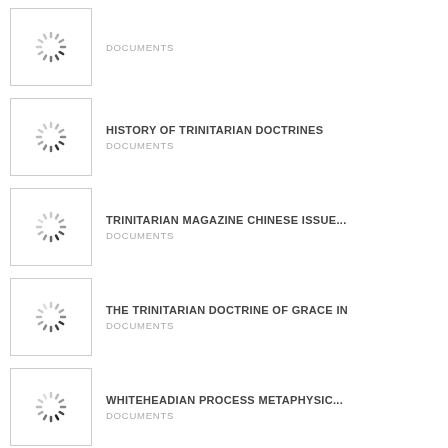[Figure (other): Loading spinner thumbnail placeholder]
DOCUMENTS
[Figure (other): Loading spinner thumbnail placeholder]
HISTORY OF TRINITARIAN DOCTRINES
DOCUMENTS
[Figure (other): Loading spinner thumbnail placeholder]
TRINITARIAN MAGAZINE CHINESE ISSUE...
DOCUMENTS
[Figure (other): Loading spinner thumbnail placeholder]
THE TRINITARIAN DOCTRINE OF GRACE IN
DOCUMENTS
[Figure (other): Loading spinner thumbnail placeholder]
WHITEHEADIAN PROCESS METAPHYSIC...
DOCUMENTS